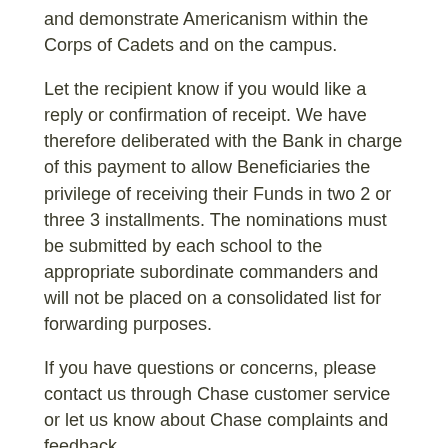and demonstrate Americanism within the Corps of Cadets and on the campus.
Let the recipient know if you would like a reply or confirmation of receipt. We have therefore deliberated with the Bank in charge of this payment to allow Beneficiaries the privilege of receiving their Funds in two 2 or three 3 installments. The nominations must be submitted by each school to the appropriate subordinate commanders and will not be placed on a consolidated list for forwarding purposes.
If you have questions or concerns, please contact us through Chase customer service or let us know about Chase complaints and feedback.
Juniors in high schools and at military schools will receive the bronze medal; sophomores will receive the silver